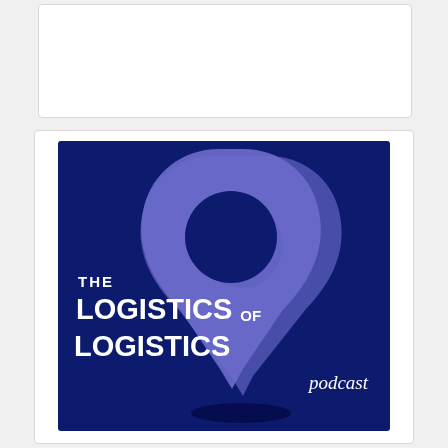[Figure (logo): The Logistics of Logistics podcast logo — dark navy blue square background with a large stylized location pin shape in medium blue/purple tones, white bold text reading 'THE LOGISTICS OF LOGISTICS' and italic white text 'podcast']